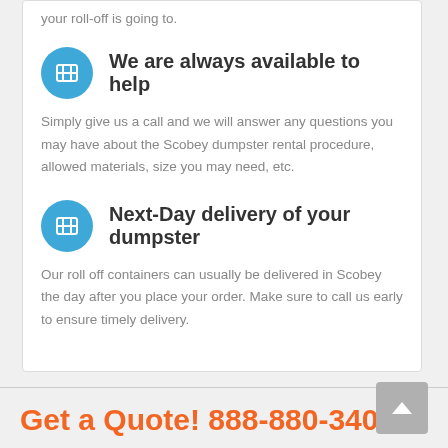your roll-off is going to.
We are always available to help
Simply give us a call and we will answer any questions you may have about the Scobey dumpster rental procedure, allowed materials, size you may need, etc.
Next-Day delivery of your dumpster
Our roll off containers can usually be delivered in Scobey the day after you place your order. Make sure to call us early to ensure timely delivery.
Get a Quote! 888-880-3407